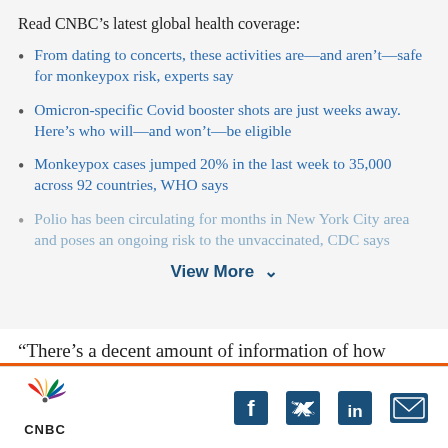Read CNBC’s latest global health coverage:
From dating to concerts, these activities are—and aren’t—safe for monkeypox risk, experts say
Omicron-specific Covid booster shots are just weeks away. Here’s who will—and won’t—be eligible
Monkeypox cases jumped 20% in the last week to 35,000 across 92 countries, WHO says
Polio has been circulating for months in New York City area and poses an ongoing risk to the unvaccinated, CDC says
View More ∨
“There’s a decent amount of information of how
CNBC logo with social media icons: Facebook, Twitter, LinkedIn, Email